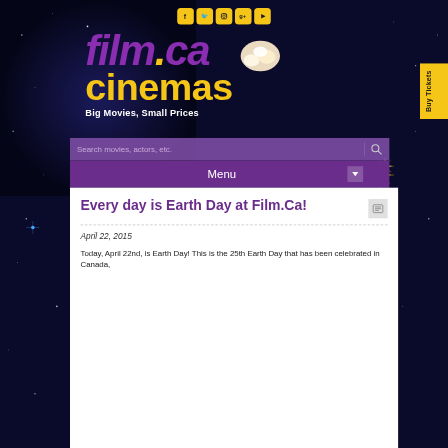[Figure (screenshot): Film.ca Cinemas website screenshot with dark starfield background, social media icons (Facebook, Twitter, Instagram, Google+, YouTube), the Film.ca Cinemas logo with popcorn graphic, tagline 'Big Movies, Small Prices', search bar, menu bar, and article content.]
Every day is Earth Day at Film.Ca!
April 22, 2015
Today, April 22nd, is Earth Day! This is the 25th Earth Day that has been celebrated in Canada,